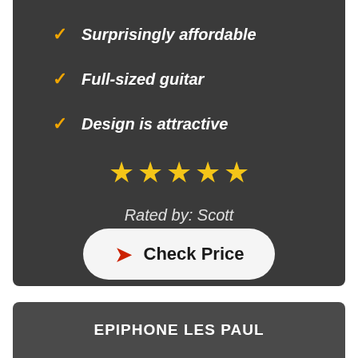Surprisingly affordable
Full-sized guitar
Design is attractive
[Figure (infographic): Five gold/yellow stars rating display]
Rated by: Scott
[Figure (infographic): Check Price button with red arrow icon]
EPIPHONE LES PAUL